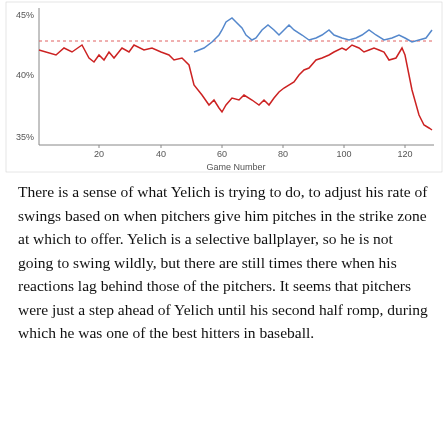[Figure (continuous-plot): Line chart showing two series (red and blue lines) over Game Number (x-axis: 20 to 120+). Y-axis labeled from 35% to 45%. A horizontal dotted red reference line at approximately 43%. The red line fluctuates between ~38% and ~45%, and the blue line appears from around game 50 onward, oscillating between ~40% and ~45%.]
There is a sense of what Yelich is trying to do, to adjust his rate of swings based on when pitchers give him pitches in the strike zone at which to offer. Yelich is a selective ballplayer, so he is not going to swing wildly, but there are still times there when his reactions lag behind those of the pitchers. It seems that pitchers were just a step ahead of Yelich until his second half romp, during which he was one of the best hitters in baseball.